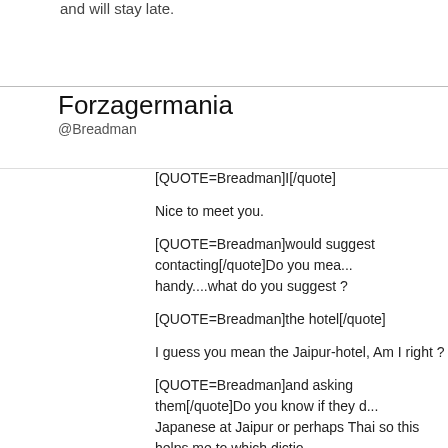and will stay late.
Forzagermania
@Breadman
[QUOTE=Breadman]I[/quote]
Nice to meet you.
[QUOTE=Breadman]would suggest contacting[/quote]Do you mea... handy....what do you suggest ?
[QUOTE=Breadman]the hotel[/quote]
I guess you mean the Jaipur-hotel, Am I right ?
[QUOTE=Breadman]and asking them[/quote]Do you know if they d... Japanese at Jaipur or perhaps Thai so this helps me to which dictio... me.
[QUOTE=Breadman]if they could drop your key[/quote]I guess the... hotel ?
[QUOTE=Breadman] at Oase.[/quote]Ohhh yes, I heard of this club... which girls can you recommend ?